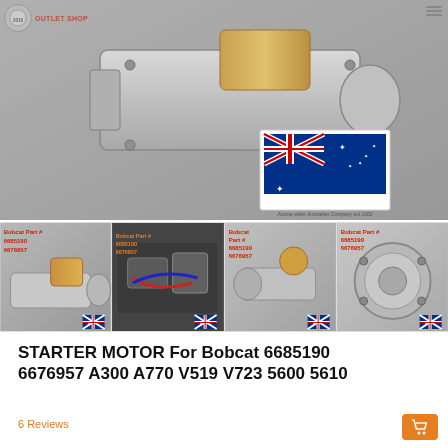[Figure (photo): Close-up photo of a starter motor (silver/gold metallic) with an Australian flag and 'Aussie seller Australian Company est 1962' watermark in the bottom right corner.]
[Figure (photo): Thumbnail image 1: Starter motor with 'Bobcat Part # 6685190 6676957' text overlay and Australian flag.]
[Figure (photo): Thumbnail image 2: Engine bay photo showing installed starter motor with 'Bobcat Part # 6685190 6676957' text overlay and Australian flag.]
[Figure (photo): Thumbnail image 3: Starter motor close-up with 'Bobcat Part # 6685190 6676957' text overlay and Australian flag.]
[Figure (photo): Thumbnail image 4: Starter motor end view with 'Bobcat Part # 6685190 6676957' text overlay and Australian flag.]
STARTER MOTOR For Bobcat 6685190 6676957 A300 A770 V519 V723 5600 5610
6 Reviews